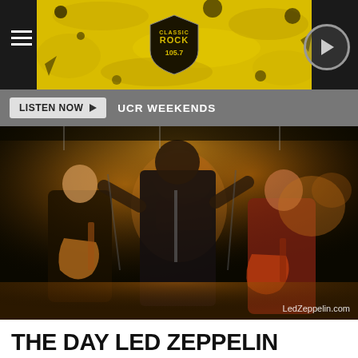[Figure (logo): Classic Rock 1057 radio station logo badge on yellow and black banner with hamburger menu and play button]
LISTEN NOW  UCR WEEKENDS
[Figure (photo): Led Zeppelin performing live on stage, four band members visible including guitarist on left, vocalist in center, and guitarist in red jacket on right with drum kit in background. Photo credit: LedZeppelin.com]
THE DAY LED ZEPPELIN PLAYED THEIR LAST CONCERT WITH JOHN BONHAM